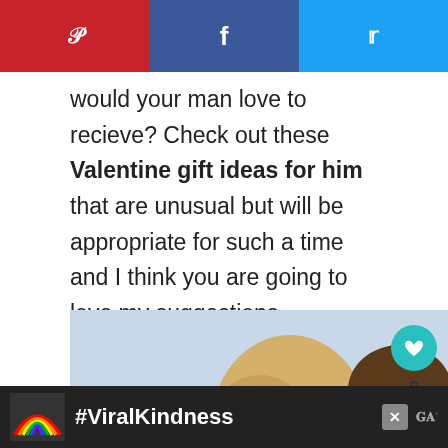Pinterest | Facebook | Twitter share bar
would your man love to recieve? Check out these Valentine gift ideas for him that are unusual but will be appropriate for such a time and I think you are going to love my suggestions.
[Figure (photo): Couple photo with woman holding red heart balloon and text overlay 'Gifts For Him' in pink italic bold font, with a 'WHAT'S NEXT' panel showing Christmas Gift Ideas For..., and sidebar with like (8) and share buttons]
Gifts For Him
#ViralKindness advertisement banner